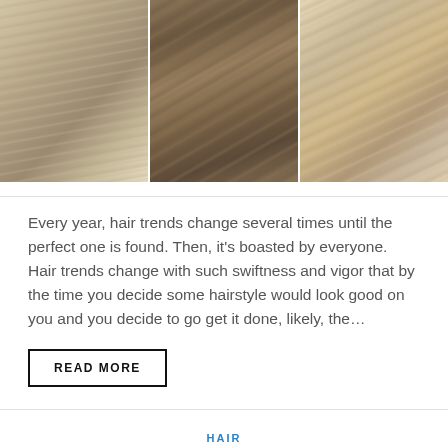[Figure (photo): Three side-by-side photos of women with balayage/highlighted hair styles — left: straight blonde highlighted hair, center: voluminous curly brunette hair with highlights, right: wavy blonde highlighted hair on a smiling woman]
Every year, hair trends change several times until the perfect one is found. Then, it's boasted by everyone. Hair trends change with such swiftness and vigor that by the time you decide some hairstyle would look good on you and you decide to go get it done, likely, the...
READ MORE
HAIR
45 Latest Balayage Hair Colors